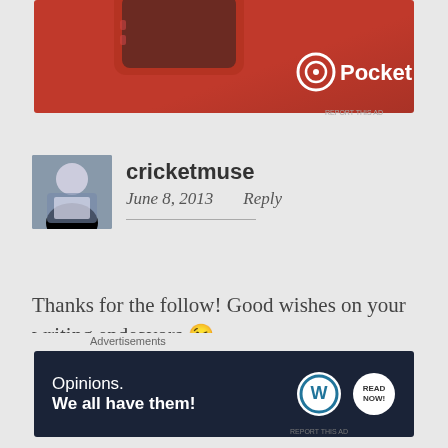[Figure (photo): Pocket Casts advertisement banner with red background showing a mobile device and Pocket Casts logo]
cricketmuse
June 8, 2013    Reply
Thanks for the follow! Good wishes on your writing endeavors 😉
★ Liked by 1 person
Advertisements
[Figure (screenshot): WordPress advertisement: Opinions. We all have them! with WordPress and other logos on dark navy background]